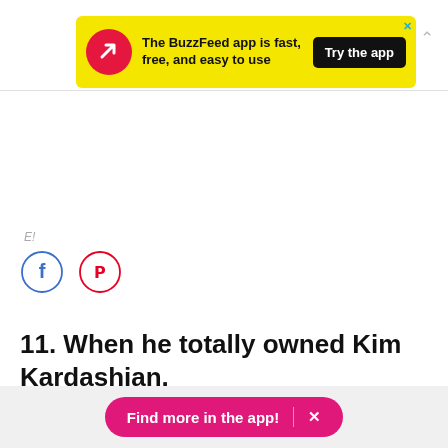[Figure (infographic): BuzzFeed app advertisement banner with yellow background, red circular logo with white arrow, text 'The BuzzFeed app is fast, free, and easy to use', black 'Try the app' button, and blue X close button]
E!
[Figure (infographic): Facebook and Pinterest social share buttons as circular outlined icons]
11. When he totally owned Kim Kardashian.
[Figure (infographic): Pink pill-shaped banner at bottom: 'Find more in the app!' with an X close button]